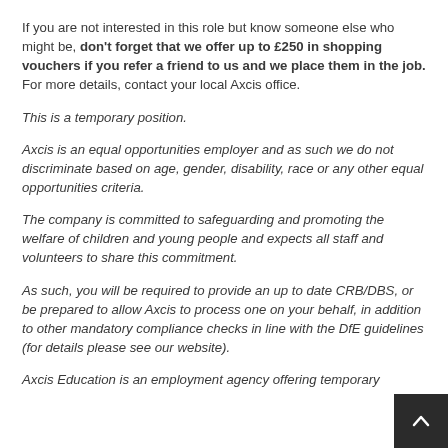If you are not interested in this role but know someone else who might be, don't forget that we offer up to £250 in shopping vouchers if you refer a friend to us and we place them in the job. For more details, contact your local Axcis office.
This is a temporary position.
Axcis is an equal opportunities employer and as such we do not discriminate based on age, gender, disability, race or any other equal opportunities criteria.
The company is committed to safeguarding and promoting the welfare of children and young people and expects all staff and volunteers to share this commitment.
As such, you will be required to provide an up to date CRB/DBS, or be prepared to allow Axcis to process one on your behalf, in addition to other mandatory compliance checks in line with the DfE guidelines (for details please see our website).
Axcis Education is an employment agency offering temporary